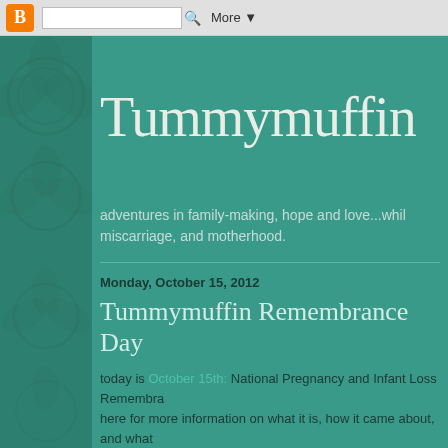Blogger navigation bar with logo, search box, and More dropdown
Tummymuffin
adventures in family-making, hope and love...whil miscarriage, and motherhood.
Monday, October 15, 2012
Tummymuffin Remembrance Day
today is October 15th: National Pregnancy and Infant Loss Remembrance Day. here for more information on what it is, how it came about, and what healing, and this day can help them find some comfort.
around here, we're calling it Tummymuffin Remembrance Day.  when conversations about how we want to remember his siblings and d